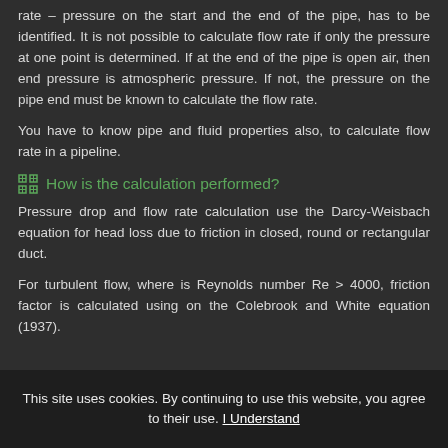rate – pressure on the start and the end of the pipe, has to be identified. It is not possible to calculate flow rate if only the pressure at one point is determined. If at the end of the pipe is open air, then end pressure is atmospheric pressure. If not, the pressure on the pipe end must be known to calculate the flow rate.
You have to know pipe and fluid properties also, to calculate flow rate in a pipeline.
How is the calculation performed?
Pressure drop and flow rate calculation use the Darcy-Weisbach equation for head loss due to friction in closed, round or rectangular duct.
For turbulent flow, where is Reynolds number Re > 4000, friction factor is calculated using on the Colebrook and White equation (1937).
This site uses cookies. By continuing to use this website, you agree to their use. I Understand